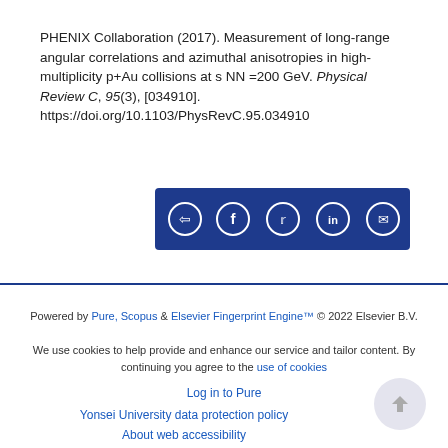PHENIX Collaboration (2017). Measurement of long-range angular correlations and azimuthal anisotropies in high-multiplicity p+Au collisions at s NN =200 GeV. Physical Review C, 95(3), [034910]. https://doi.org/10.1103/PhysRevC.95.034910
[Figure (other): Social share button bar with icons for share, Facebook, Twitter, LinkedIn, and email on a dark blue background]
Powered by Pure, Scopus & Elsevier Fingerprint Engine™ © 2022 Elsevier B.V.
We use cookies to help provide and enhance our service and tailor content. By continuing you agree to the use of cookies
Log in to Pure
Yonsei University data protection policy
About web accessibility